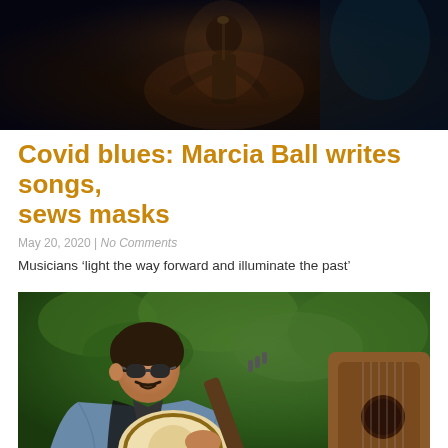[Figure (photo): Dark performance photo of a musician at a microphone, dimly lit with warm tones]
Covid blues: Marcia Ball writes songs, sews masks
May 20, 2020 | No Comments
Musicians ‘light the way forward and illuminate the past’
[Figure (photo): Man wearing sunglasses and a denim jacket playing a banjo outdoors, with green foliage in the background and another guitar visible to the right]